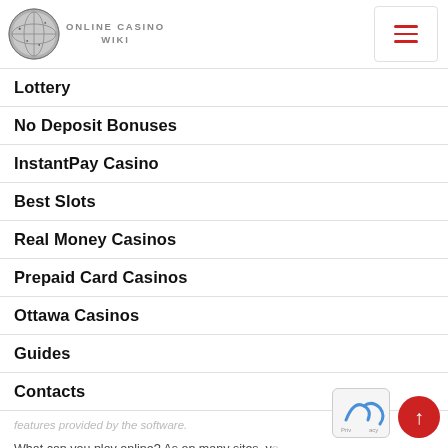ONLINE CASINO WIKI
Lottery
No Deposit Bonuses
InstantPay Casino
Best Slots
Real Money Casinos
Prepaid Card Casinos
Ottawa Casinos
Guides
Contacts
features provided by the software.
What can you play online?  As on many sites, you have different categories, but with the Wildblaster